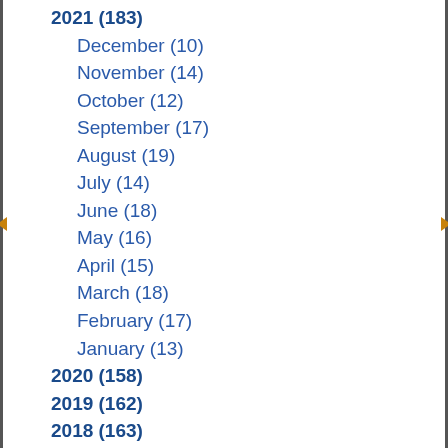2021 (183)
December (10)
November (14)
October (12)
September (17)
August (19)
July (14)
June (18)
May (16)
April (15)
March (18)
February (17)
January (13)
2020 (158)
2019 (162)
2018 (163)
2017 (135)
2016 (11)
2015 (3)
2014 (7)
2013 (4)
2012 (3)
2011 (?)